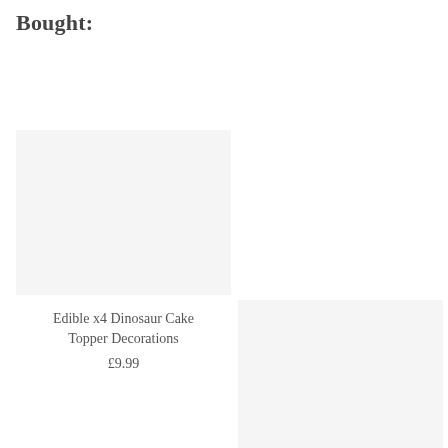Bought:
[Figure (photo): Product image placeholder box (light grey rectangle) for Edible x4 Dinosaur Cake Topper Decorations]
Edible x4 Dinosaur Cake Topper Decorations
£9.99
[Figure (photo): Second product image placeholder box (light grey rectangle), partially visible at bottom right]